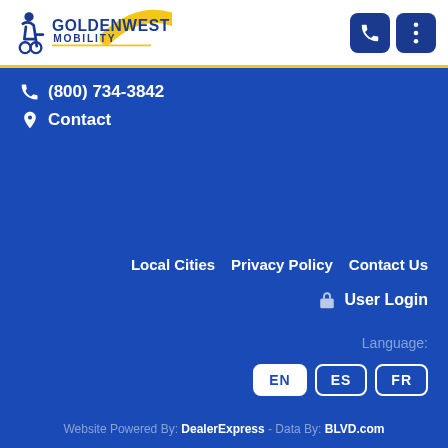[Figure (logo): Goldenwest Mobility logo with wheelchair icon and sun arc, blue text on white background]
(800) 734-3842
Contact
Local Cities
Privacy Policy
Contact Us
User Login
Language:
EN  ES  FR
Website Powered By: DealerExpress - Data By: BLVD.com